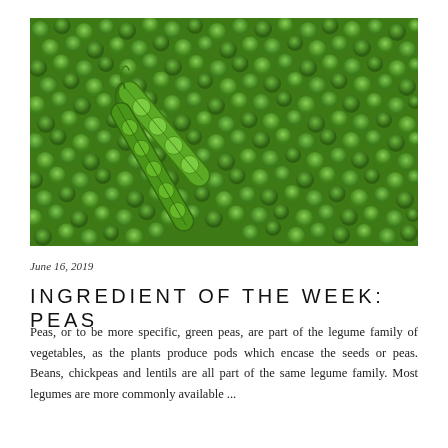[Figure (photo): Close-up photograph of green peas scattered densely, with two open pea pods lying on top showing the peas inside.]
June 16, 2019
INGREDIENT OF THE WEEK: PEAS
Peas, or to be more specific, green peas, are part of the legume family of vegetables, as the plants produce pods which encase the seeds or peas. Beans, chickpeas and lentils are all part of the same legume family. Most legumes are more commonly available ...